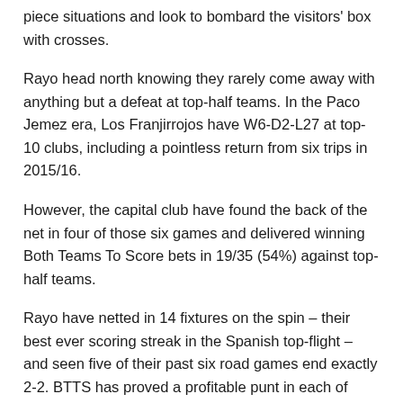piece situations and look to bombard the visitors' box with crosses.
Rayo head north knowing they rarely come away with anything but a defeat at top-half teams. In the Paco Jemez era, Los Franjirrojos have W6-D2-L27 at top-10 clubs, including a pointless return from six trips in 2015/16.
However, the capital club have found the back of the net in four of those six games and delivered winning Both Teams To Score bets in 19/35 (54%) against top-half teams.
Rayo have netted in 14 fixtures on the spin – their best ever scoring streak in the Spanish top-flight – and seen five of their past six road games end exactly 2-2. BTTS has proved a profitable punt in each of their last 10 away days; unfortunately, the visitors have shipped two or more goals in nine consecutive games as guests.